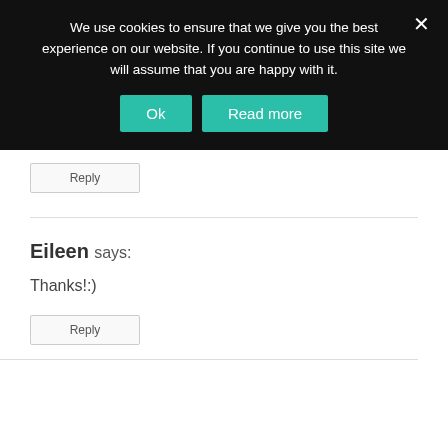We use cookies to ensure that we give you the best experience on our website. If you continue to use this site we will assume that you are happy with it.
Ok
Read more
Reply
Eileen says:
Thanks!:)
Reply